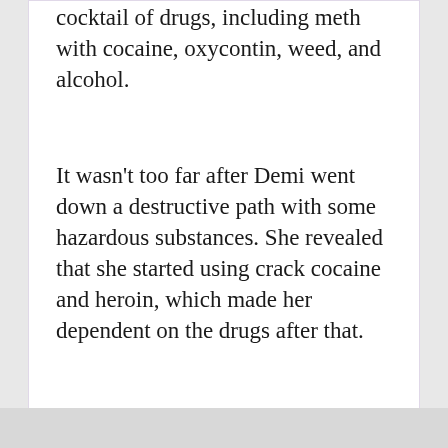cocktail of drugs, including meth with cocaine, oxycontin, weed, and alcohol.
It wasn’t too far after Demi went down a destructive path with some hazardous substances. She revealed that she started using crack cocaine and heroin, which made her dependent on the drugs after that.
Dealing With Sexual Assualt